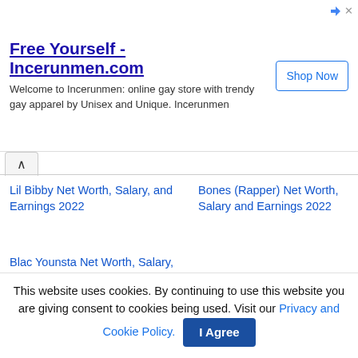[Figure (screenshot): Advertisement banner for Incerunmen.com with title 'Free Yourself - Incerunmen.com', description text, and a 'Shop Now' button]
Lil Bibby Net Worth, Salary, and Earnings 2022
Bones (Rapper) Net Worth, Salary and Earnings 2022
Blac Younsta Net Worth, Salary, and Earnings 2022
[Figure (screenshot): Social share buttons: Facebook, Twitter, Google+, and Share]
This website uses cookies. By continuing to use this website you are giving consent to cookies being used. Visit our Privacy and Cookie Policy.